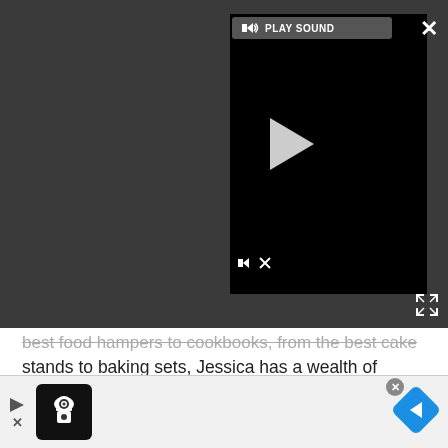[Figure (screenshot): Video player overlay with dark background, showing a black video box with play sound button at top, a play triangle in the center, mute/volume icon at bottom left, a close X button at top right, and a fullscreen expand icon at bottom right.]
best food hampers to cookbooks, from the best cake stands to baking sets, Jessica has a wealth of knowledge when it comes to must-have food products. A passionate baker, she spends much of her time creating celebration cakes for friends and family - particularly for her two lucky children.
RELATED RECIPES
Greek lamb with warm beans
[Figure (photo): Partial thumbnail of a food dish - Greek lamb with warm beans]
[Figure (screenshot): Bottom advertisement bar with chef icon logo on black background, navigation arrows and close button on left, and a blue diamond navigation arrow icon on the right.]